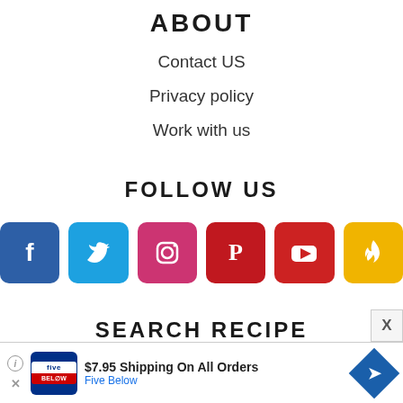ABOUT
Contact US
Privacy policy
Work with us
FOLLOW US
[Figure (infographic): Six social media icon buttons in rounded square shapes: Facebook (dark blue), Twitter (light blue), Instagram (pink/red), Pinterest (dark red), YouTube (red), Fire/Tinder (yellow)]
SEARCH RECIPE
[Figure (infographic): Advertisement banner: Five Below store ad showing $7.95 Shipping On All Orders with Five Below logo and blue diamond arrow icon]